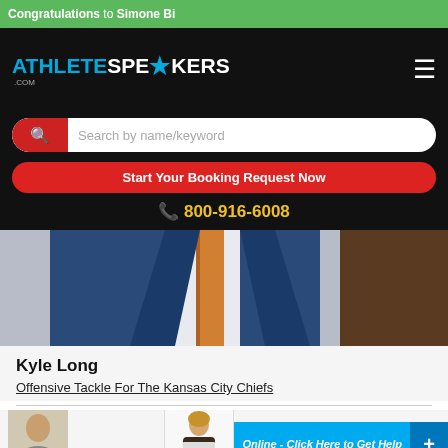Congratulations to Simone Bi
[Figure (logo): AthleteSpeakers.com logo in blue and white on black background]
[Figure (screenshot): Search bar with red search icon button and placeholder text 'Search by name/keyword']
Start Your Booking Request Now
800-916-6008
[Figure (photo): Photo of Kyle Long wearing a blue suit with orange/gold tie]
Kyle Long
Offensive Tackle For The Kansas City Chiefs
[Figure (photo): Small thumbnail photo at bottom left]
[Figure (screenshot): Online chat widget with female agent photo and 'Online - Click Here to Get Help' button]